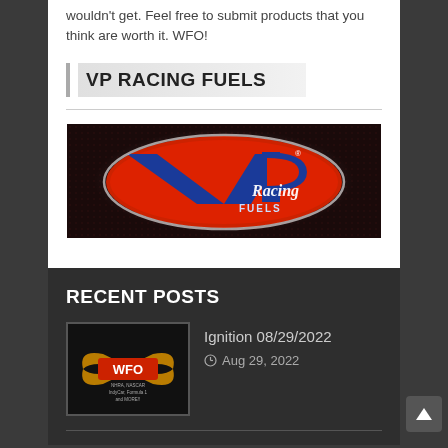wouldn't get. Feel free to submit products that you think are worth it. WFO!
VP RACING FUELS
[Figure (logo): VP Racing Fuels logo on dark background — large blue 'VP' letters over a red oval with 'Racing Fuels' script text, set against a dark carbon-fiber textured background with glowing effect.]
RECENT POSTS
[Figure (photo): WFO Motorsports thumbnail image showing a winged logo with 'WFO' text and text reading 'NHRA, NASCAR, IndyCar, Formula 1 and MORE!!' on dark background.]
Ignition 08/29/2022
Aug 29, 2022